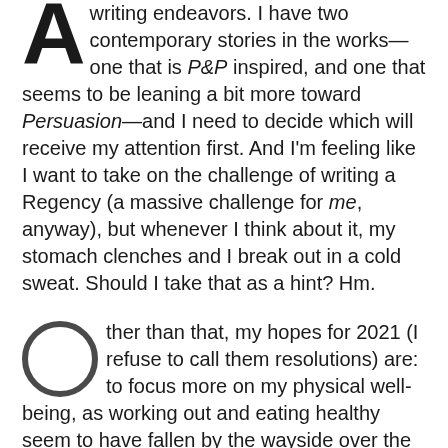As for writing endeavors, I have two contemporary stories in the works—one that is P&P inspired, and one that seems to be leaning a bit more toward Persuasion—and I need to decide which will receive my attention first. And I'm feeling like I want to take on the challenge of writing a Regency (a massive challenge for me, anyway), but whenever I think about it, my stomach clenches and I break out in a cold sweat. Should I take that as a hint? Hm.
Other than that, my hopes for 2021 (I refuse to call them resolutions) are: to focus more on my physical well-being, as working out and eating healthy seem to have fallen by the wayside over the past few months. I need to get back on track! And I hope to read more. My TBR pile is monstrous and my Kindle is filled with books, both JAFF and non-JAFF, that